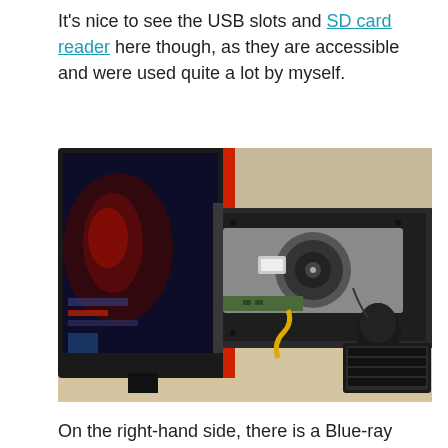It's nice to see the USB slots and SD card reader here though, as they are accessible and were used quite a lot by myself.
[Figure (photo): Close-up photo of a gaming all-in-one computer (MSI) tilted backward showing the optical disk drive (Blu-ray) open/ejected from the rear side. A mouse and keyboard are visible in the background on a desk.]
On the right-hand side, there is a Blue-ray disk burner, which is nice to have included. Nowadays a lot of things are going digital but it's always nice to have a backup way of installing